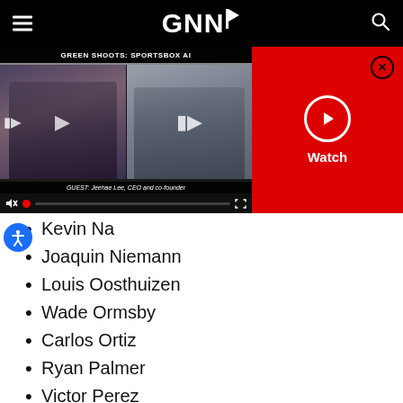GNN
[Figure (screenshot): Video player showing 'GREEN SHOOTS: SPORTSBOX AI' with two video frames: a woman on the left and a man on the right. Guest caption: 'GUEST: Jeehae Lee, CEO and co-founder'. Red watch panel on the right with play button and close button.]
Kevin Na
Joaquin Niemann
Louis Oosthuizen
Wade Ormsby
Carlos Ortiz
Ryan Palmer
Victor Perez
Jon Rahm